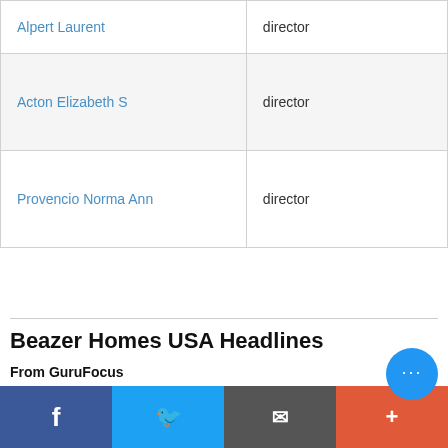| Alpert Laurent | director |
| Acton Elizabeth S | director |
| Provencio Norma Ann | director |
Beazer Homes USA Headlines
From GuruFocus
The Cove is an Affordable Alternative to Bay Area Living
By Business Wire 10-27-2020